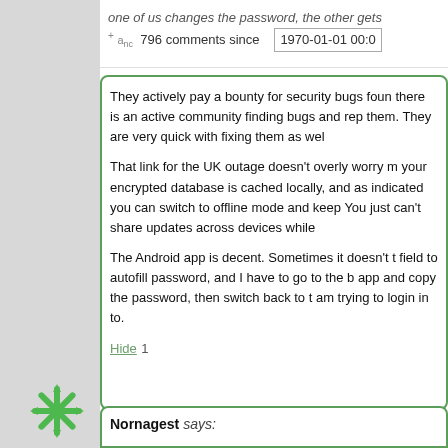one of us changes the password, the other gets [truncated] 796 comments since 1970-01-01 00:0[truncated] and [truncated]
They actively pay a bounty for security bugs found [truncated] there is an active community finding bugs and rep[truncated] them. They are very quick with fixing them as wel[truncated]
That link for the UK outage doesn't overly worry m[truncated] your encrypted database is cached locally, and as[truncated] indicated you can switch to offline mode and keep[truncated] You just can't share updates across devices while[truncated]
The Android app is decent. Sometimes it doesn't [truncated] field to autofill password, and I have to go to the b[truncated] app and copy the password, then switch back to t[truncated] am trying to login in to.
Hide 1
Nornagest says: